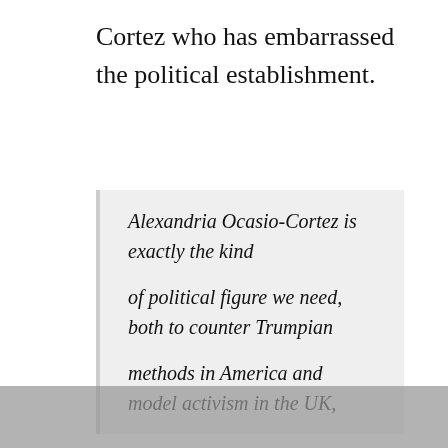Cortez who has embarrassed the political establishment.
Alexandria Ocasio-Cortez is exactly the kind of political figure we need, both to counter Trumpian methods in America and model activism in the UK,
Despite these frustrations Ocasio-Cortez ran a grass roots campaign which consumed her life and energy but has led to a major political upset. Crowley a heavy weight Democrat primed for a top job (leader of the house) with links to Wall Street and